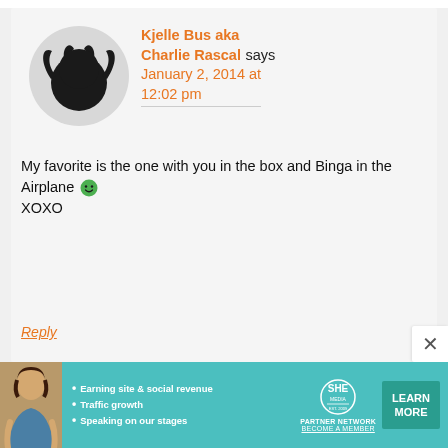[Figure (illustration): User avatar: black silhouette of a devil/demon face on a gray circle background]
Kjelle Bus aka Charlie Rascal says January 2, 2014 at 12:02 pm
My favorite is the one with you in the box and Binga in the Airplane 😀 XOXO
Reply
[Figure (infographic): SHE Media Partner Network advertisement banner with woman photo, bullet points: Earning site & social revenue, Traffic growth, Speaking on our stages, and LEARN MORE button]